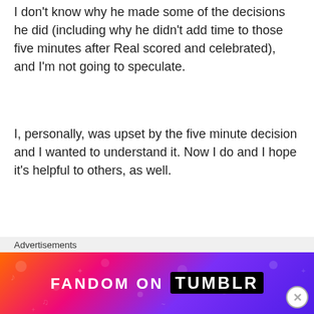I don't know why he made some of the decisions he did (including why he didn't add time to those five minutes after Real scored and celebrated), and I'm not going to speculate.
I, personally, was upset by the five minute decision and I wanted to understand it. Now I do and I hope it's helpful to others, as well.
★ Liked by 1 person
Reply
Advertisements
[Figure (illustration): Fandom on Tumblr advertisement banner with colorful gradient background (orange to purple) and white/black text reading FANDOM ON tumblr]